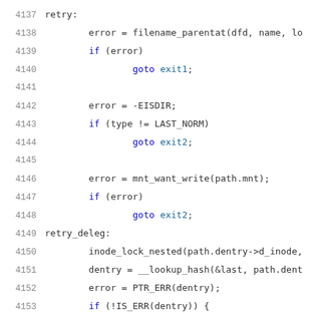Source code listing lines 4137-4157, C kernel code snippet showing file system operations including filename_parentat, EISDIR error handling, mnt_want_write, inode_lock_nested, __lookup_hash, PTR_ERR, IS_ERR checks, and a comment about delegation.